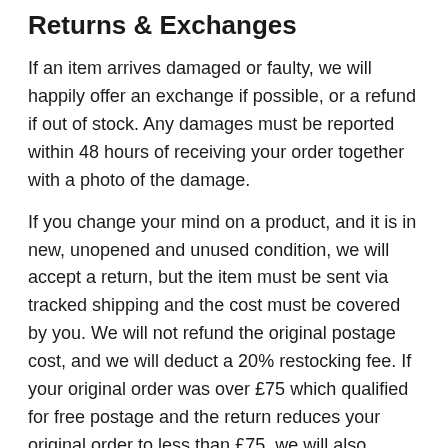Returns & Exchanges
If an item arrives damaged or faulty, we will happily offer an exchange if possible, or a refund if out of stock. Any damages must be reported within 48 hours of receiving your order together with a photo of the damage.
If you change your mind on a product, and it is in new, unopened and unused condition, we will accept a return, but the item must be sent via tracked shipping and the cost must be covered by you. We will not refund the original postage cost, and we will deduct a 20% restocking fee. If your original order was over £75 which qualified for free postage and the return reduces your original order to less than £75, we will also deduct what would have been the original postage. We cannot accept returns after 30 days.
Please email ahead of returns and exchanges first for this to be agreed.
Damages